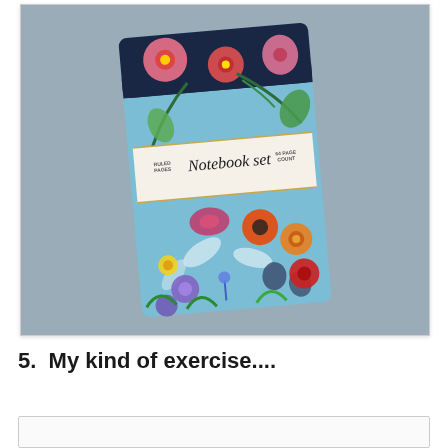[Figure (photo): A floral notebook set with a blue cover decorated with colorful flowers including red, pink, orange, purple, and yellow blooms along with green leaves and white botanical shapes. A white band wraps around the middle with the text 'Notebook set' in script font, along with 'RULED PAGES' on the left and '64 PAGE COUNT' on the right. The notebook is set against a gray background.]
5.  My kind of exercise....